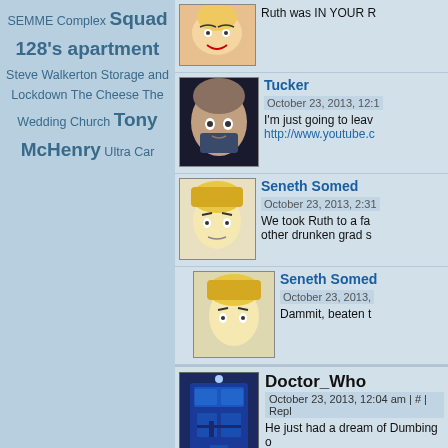SEMME Complex Squad 128's apartment Steve Walkerton Storage and Lockdown The Cheese The Wedding Church Tony McHenry Ultra Car
Ruth was IN YOUR R...
Tucker
October 23, 2013, 12:1...
I'm just going to leav...
http://www.youtube.c...
Seneth Somed...
October 23, 2013, 2:31...
We took Ruth to a fa... other drunken grad s...
Seneth Somed...
October 23, 2013, ...
Dammit, beaten t...
Doctor_Who
October 23, 2013, 12:04 am | # | Repl...
He just had a dream of Dumbing o...
"And you were there! And you, an...
Kernapator